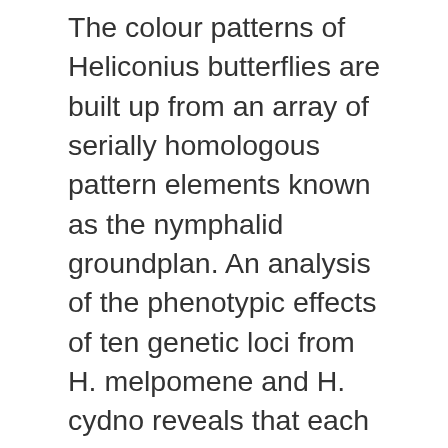The colour patterns of Heliconius butterflies are built up from an array of serially homologous pattern elements known as the nymphalid groundplan. An analysis of the phenotypic effects of ten genetic loci from H. melpomene and H. cydno reveals that each alters the expression either of a single element of the groundplan or of an entire row of serially homologous elements. Five of the ten loci affect the size (or presence/absence) of specific pattern elements, two affect the colour in which a pattern element is expressed, two affect pattern-inducing activity of the wing veins, and one appears to affect an overall threshold for pattern determination. Three of the ten loci have identical effects on homologues of the fore- and hindwing. We show that most of